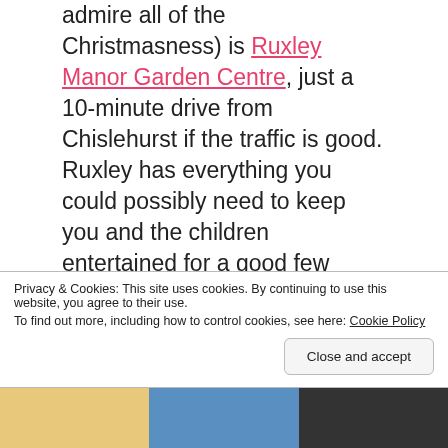admire all of the Christmasness) is Ruxley Manor Garden Centre, just a 10-minute drive from Chislehurst if the traffic is good. Ruxley has everything you could possibly need to keep you and the children entertained for a good few hours: a lovely café, a farm shop, a toy shop, a pet shop, free soft play, and some gardening stuff (apparently). In most of the school holidays they even run a series of activities/events for children, their Ruxley Rascals programme (I have attended one of these before and wasn't impressed so I haven't been back since, but I am determined to try again next year)! It is also renowned for putting on a good Christmas show: from its beautiful and creative Christmas displays, to its grotto
Privacy & Cookies: This site uses cookies. By continuing to use this website, you agree to their use.
To find out more, including how to control cookies, see here: Cookie Policy
[Figure (photo): Photo strip at the bottom of the page showing three partial images]